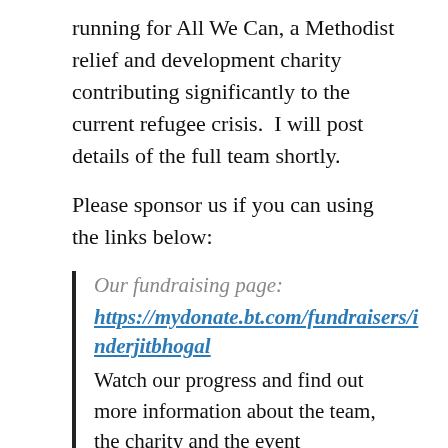running for All We Can, a Methodist relief and development charity contributing significantly to the current refugee crisis.  I will post details of the full team shortly.
Please sponsor us if you can using the links below:
Our fundraising page: https://mydonate.bt.com/fundraisers/inderjitbhogal Watch our progress and find out more information about the team, the charity and the event
Our Sponsorship form: